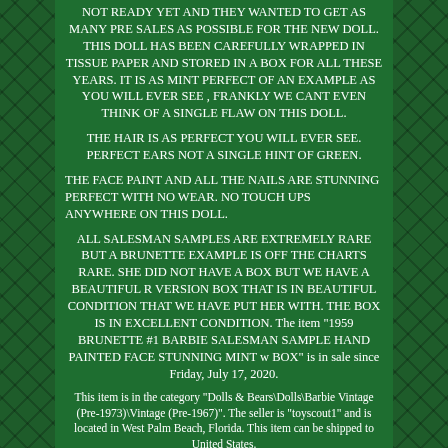NOT READY YET AND THEY WANTED TO GET AS MANY PRE SALES AS POSSIBLE FOR THE NEW DOLL. THIS DOLL HAS BEEN CAREFULLY WRAPPED IN TISSUE PAPER AND STORED IN A BOX FOR ALL THESE YEARS. IT IS AS MINT PERFECT OF AN EXAMPLE AS YOU WILL EVER SEE , FRANKLY WE CANT EVEN THINK OF A SINGLE FLAW ON THIS DOLL.
THE HAIR IS AS PERFECT YOU WILL EVER SEE. PERFECT EARS NOT A SINGLE HINT OF GREEN.
THE FACE PAINT AND ALL THE NAILS ARE STUNNING PERFECT WITH NO WEAR. NO TOUCH UPS ANYWHERE ON THIS DOLL.
ALL SALESMAN SAMPLES ARE EXTREMELY RARE BUT A BRUNETTE EXAMPLE IS OFF THE CHARTS RARE. SHE DID NOT HAVE A BOX BUT WE HAVE A BEAUTIFUL R VERSION BOX THAT IS IN BEAUTIFUL CONDITION THAT WE HAVE PUT HER WITH. THE BOX IS IN EXCELLENT CONDITION. The item "1959 BRUNETTE #1 BARBIE SALESMAN SAMPLE HAND PAINTED FACE STUNNING MINT w BOX" is in sale since Friday, July 17, 2020.
This item is in the category "Dolls & Bears\Dolls\Barbie Vintage (Pre-1973)\Vintage (Pre-1967)". The seller is "toyscout1" and is located in West Palm Beach, Florida. This item can be shipped to United States.